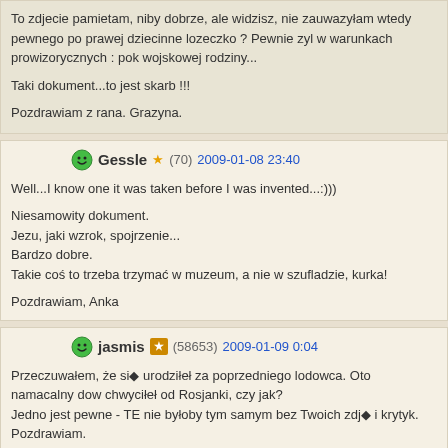To zdjecie pamietam, niby dobrze, ale widzisz, nie zauwazyłam wtedy pewnego po prawej dziecinne lozeczko ? Pewnie zyl w warunkach prowizorycznych : pok wojskowej rodziny...

Taki dokument...to jest skarb !!!

Pozdrawiam z rana. Grazyna.
Gessle (70) 2009-01-08 23:40

Well...I know one it was taken before I was invented...:)))

Niesamowity dokument.
Jezu, jaki wzrok, spojrzenie...
Bardzo dobre.
Takie coś to trzeba trzymać w muzeum, a nie w szufladzie, kurka!

Pozdrawiam, Anka
jasmis (58653) 2009-01-09 0:04

Przeczuwałem, że si� urodziłeł za poprzedniego lodowca. Oto namacalny dow chwyciłeł od Rosjanki, czy jak?
Jedno jest pewne - TE nie byłoby tym samym bez Twoich zdj� i krytyk.
Pozdrawiam.